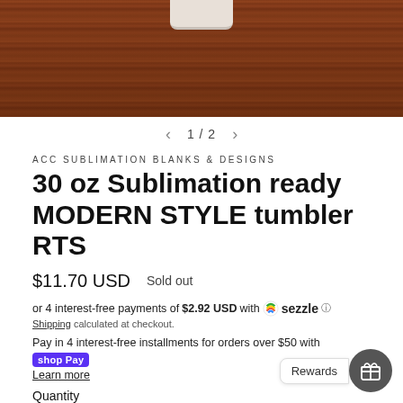[Figure (photo): Product photo: bottom of a white/cream tumbler resting on a dark wood-grain surface. Navigation arrows showing 1/2 images.]
< 1 / 2 >
ACC SUBLIMATION BLANKS & DESIGNS
30 oz Sublimation ready MODERN STYLE tumbler RTS
$11.70 USD   Sold out
or 4 interest-free payments of $2.92 USD with Sezzle ⓘ
Shipping calculated at checkout.
Pay in 4 interest-free installments for orders over $50 with shop Pay
Learn more
Quantity
- 1 +